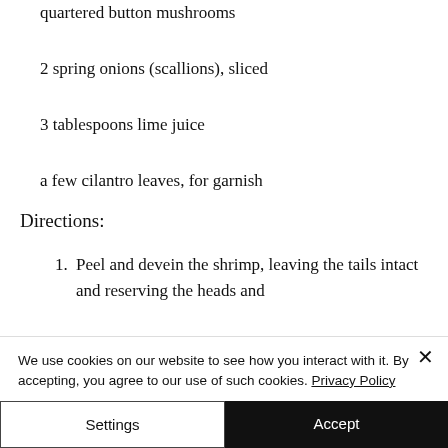quartered button mushrooms
2 spring onions (scallions), sliced
3 tablespoons lime juice
a few cilantro leaves, for garnish
Directions:
1. Peel and devein the shrimp, leaving the tails intact and reserving the heads and
We use cookies on our website to see how you interact with it. By accepting, you agree to our use of such cookies. Privacy Policy